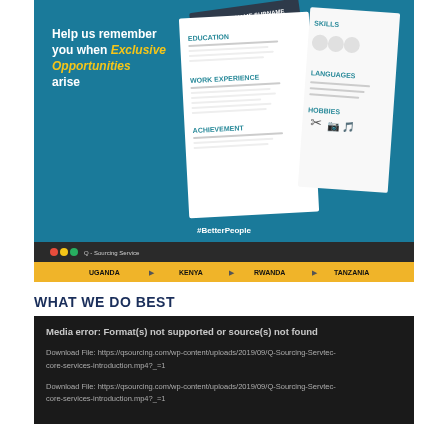[Figure (screenshot): Q-Sourcing Services promotional banner with teal background, text 'Help us remember you when Exclusive Opportunities arise', CV/resume template cards, #BetterPeople tagline, dark footer bar with social dots and 'Q-Sourcing Service', yellow navigation bar with UGANDA, KENYA, RWANDA, TANZANIA]
WHAT WE DO BEST
Media error: Format(s) not supported or source(s) not found
Download File: https://qsourcing.com/wp-content/uploads/2019/09/Q-Sourcing-Servtec-core-services-introduction.mp4?_=1
Download File: https://qsourcing.com/wp-content/uploads/2019/09/Q-Sourcing-Servtec-core-services-introduction.mp4?_=1